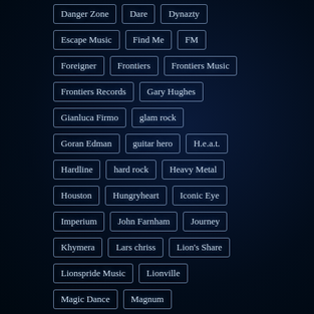Danger Zone
Dare
Dynazty
Escape Music
Find Me
FM
Foreigner
Frontiers
Frontiers Music
Frontiers Records
Gary Hughes
Gianluca Firmo
glam rock
Goran Edman
guitar hero
H.e.a.t.
Hardline
hard rock
Heavy Metal
Houston
Hungryheart
Iconic Eye
Imperium
John Farnham
Journey
Khymera
Lars chriss
Lion's Share
Lionspride Music
Lionville
Magic Dance
Magnum